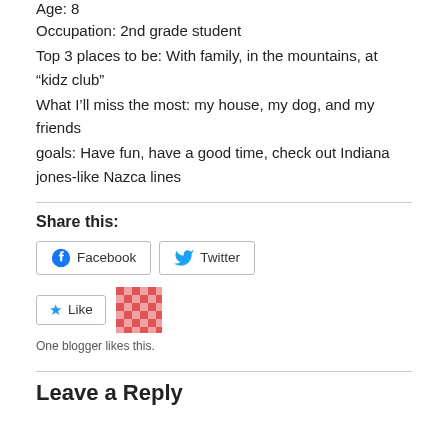Age: 8
Occupation: 2nd grade student
Top 3 places to be: With family, in the mountains, at “kidz club”
What I’ll miss the most: my house, my dog, and my friends
goals: Have fun, have a good time, check out Indiana jones-like Nazca lines
Share this:
[Figure (other): Facebook and Twitter share buttons]
[Figure (other): Like button with blogger avatar mosaic]
One blogger likes this.
Leave a Reply